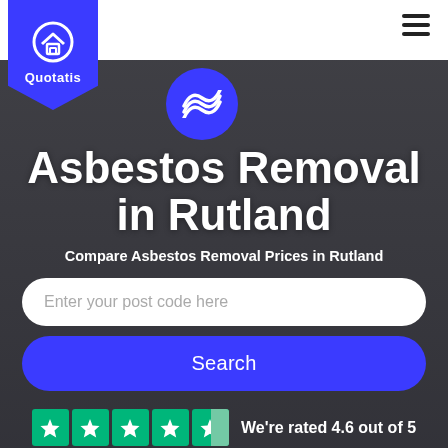[Figure (screenshot): Quotatis website header screenshot showing asbestos removal service page for Rutland with a dark-overlaid background photo of workers in protective suits, the Quotatis logo in a blue shield on the top left, hamburger menu top right, a large white search input field, a blue Search button, and a Trustpilot star rating row at the bottom.]
Asbestos Removal in Rutland
Compare Asbestos Removal Prices in Rutland
Enter your post code here
Search
We're rated 4.6 out of 5